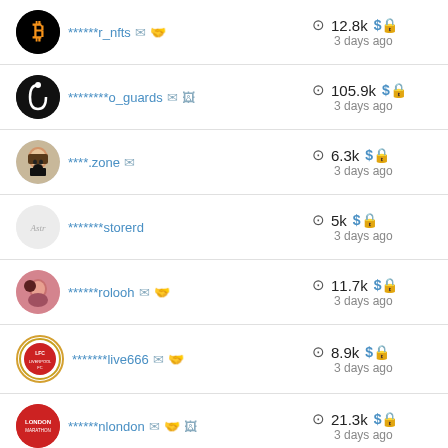******r_nfts  12.8k $🔒  3 days ago
********o_guards  105.9k $🔒  3 days ago
****.zone  6.3k $🔒  3 days ago
*******storerd  5k $🔒  3 days ago
******rolooh  11.7k $🔒  3 days ago
*******live666  8.9k $🔒  3 days ago
******nlondon  21.3k $🔒  3 days ago
*****esway  59.4k $🔒  3 days ago